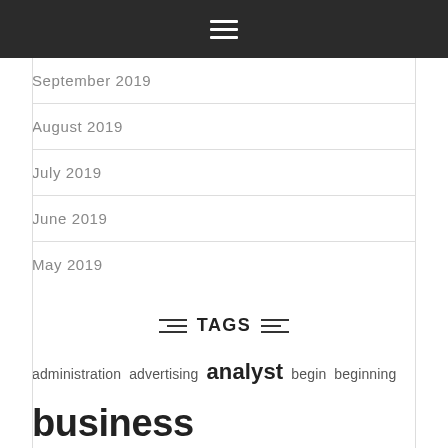Navigation menu (hamburger icon)
September 2019
August 2019
July 2019
June 2019
May 2019
TAGS
administration advertising analyst begin beginning business